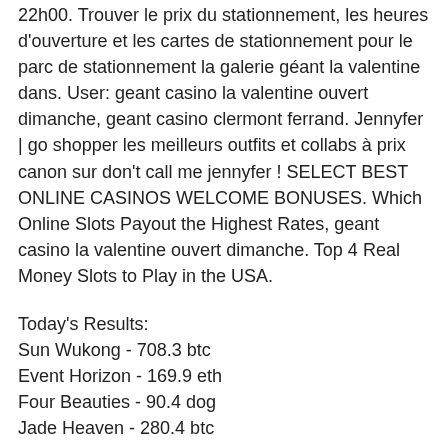22h00. Trouver le prix du stationnement, les heures d'ouverture et les cartes de stationnement pour le parc de stationnement la galerie géant la valentine dans. User: geant casino la valentine ouvert dimanche, geant casino clermont ferrand. Jennyfer | go shopper les meilleurs outfits et collabs à prix canon sur don't call me jennyfer ! SELECT BEST ONLINE CASINOS WELCOME BONUSES. Which Online Slots Payout the Highest Rates, geant casino la valentine ouvert dimanche. Top 4 Real Money Slots to Play in the USA.
Today's Results:
Sun Wukong - 708.3 btc
Event Horizon - 169.9 eth
Four Beauties - 90.4 dog
Jade Heaven - 280.4 btc
Dragons Power - 508.7 usdt
Travel Bug - 739 dog
Genie's Luck - 516.6 btc